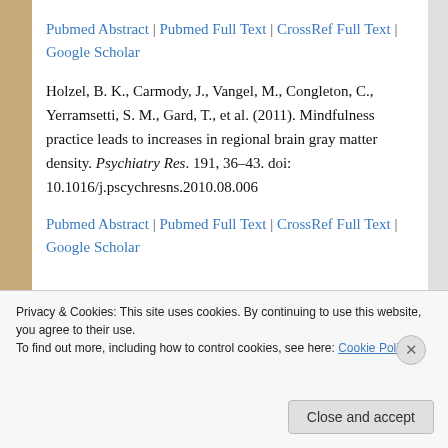Pubmed Abstract | Pubmed Full Text | CrossRef Full Text | Google Scholar
Holzel, B. K., Carmody, J., Vangel, M., Congleton, C., Yerramsetti, S. M., Gard, T., et al. (2011). Mindfulness practice leads to increases in regional brain gray matter density. Psychiatry Res. 191, 36–43. doi: 10.1016/j.pscychresns.2010.08.006
Pubmed Abstract | Pubmed Full Text | CrossRef Full Text | Google Scholar
Privacy & Cookies: This site uses cookies. By continuing to use this website, you agree to their use.
To find out more, including how to control cookies, see here: Cookie Policy